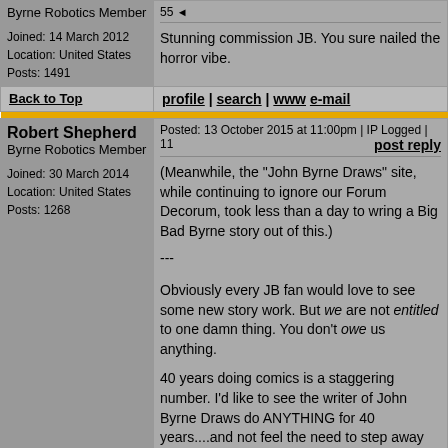| Byrne Robotics Member
Joined: 14 March 2012
Location: United States
Posts: 1491 | 55 [partial]
Stunning commission JB. You sure nailed the horror vibe. |
| Back to Top | profile | search | www e-mail |
| [gold bar] | [gold bar] |
| Robert Shepherd
Byrne Robotics Member
Joined: 30 March 2014
Location: United States
Posts: 1268 | Posted: 13 October 2015 at 11:00pm | IP Logged | 11 [post reply]
(Meanwhile, the "John Byrne Draws" site, while continuing to ignore our Forum Decorum, took less than a day to wring a Big Bad Byrne story out of this.)
---
Obviously every JB fan would love to see some new story work. But we are not entitled to one damn thing. You don't owe us anything.
40 years doing comics is a staggering number. I'd like to see the writer of John Byrne Draws do ANYTHING for 40 years....and not feel the need to step away |